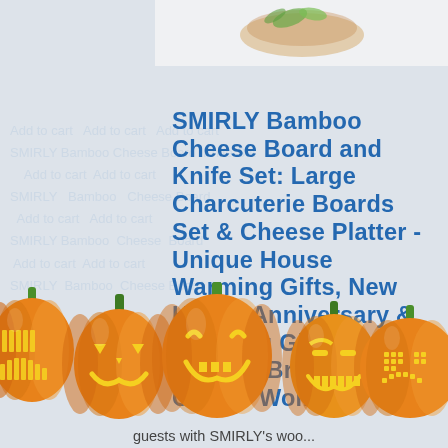[Figure (photo): Product image showing a bamboo cheese board with food items, partially visible at top]
SMIRLY Bamboo Cheese Board and Knife Set: Large Charcuterie Boards Set & Cheese Platter - Unique House Warming Gifts, New Home, Anniversary & Wedding Gifts for Couple, Bridal Shower Gift for Women
[Figure (illustration): Row of five carved Halloween jack-o-lantern pumpkins with green stems, orange colored, each with different carved face expressions]
guests with SMIRLY's woo...